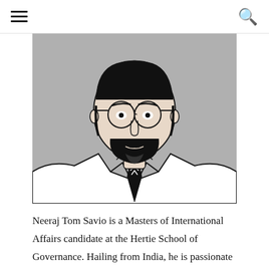[hamburger menu] [search icon]
[Figure (illustration): Black and white line illustration of a young man with round glasses, a beard, wearing a suit and tie, against a grey background. The portrait is cropped at the chest.]
Neeraj Tom Savio is a Masters of International Affairs candidate at the Hertie School of Governance. Hailing from India, he is passionate about International Security, Politics and Global Governance, especially in the context of the Global South. Having had an interdisciplinary background, holding a Bachelor's Degree in